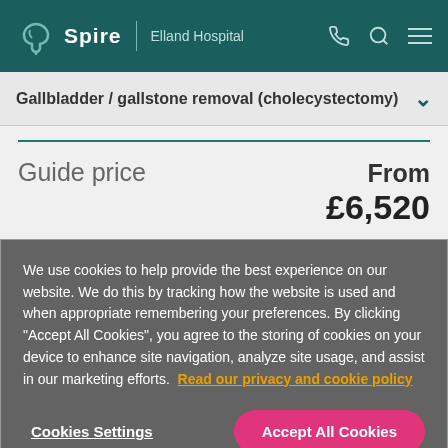Spire | Elland Hospital
Gallbladder / gallstone removal (cholecystectomy)
Guide price   From £6,520
We use cookies to help provide the best experience on our website. We do this by tracking how the website is used and when appropriate remembering your preferences. By clicking "Accept All Cookies", you agree to the storing of cookies on your device to enhance site navigation, analyze site usage, and assist in our marketing efforts.  Read our privacy and cookie policy